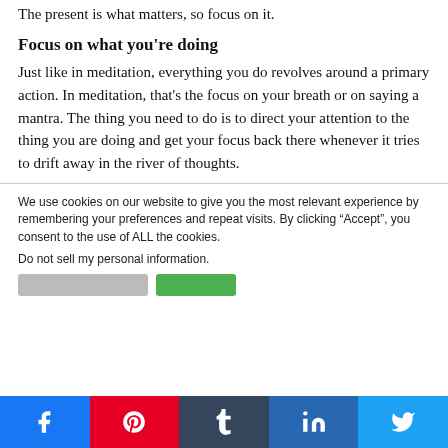The present is what matters, so focus on it.
Focus on what you're doing
Just like in meditation, everything you do revolves around a primary action. In meditation, that's the focus on your breath or on saying a mantra. The thing you need to do is to direct your attention to the thing you are doing and get your focus back there whenever it tries to drift away in the river of thoughts.
We use cookies on our website to give you the most relevant experience by remembering your preferences and repeat visits. By clicking “Accept”, you consent to the use of ALL the cookies.
Do not sell my personal information.
[Figure (other): Social share buttons for Facebook, Pinterest, Tumblr, LinkedIn, and Twitter]